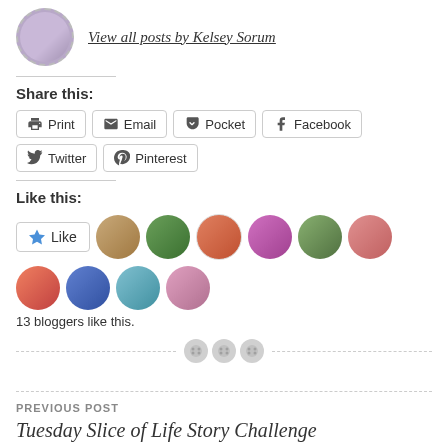View all posts by Kelsey Sorum
Share this:
Print | Email | Pocket | Facebook | Twitter | Pinterest
Like this:
Like
13 bloggers like this.
PREVIOUS POST
Tuesday Slice of Life Story Challenge